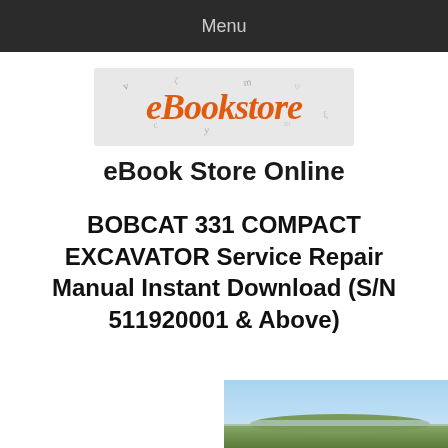Menu
[Figure (logo): eBookstore logo in orange/rust italic serif font on light gray background with scattered letters]
eBook Store Online
BOBCAT 331 COMPACT EXCAVATOR Service Repair Manual Instant Download (S/N 511920001 & Above)
[Figure (photo): Partial photo of a compact excavator or construction scene at the bottom of the page]